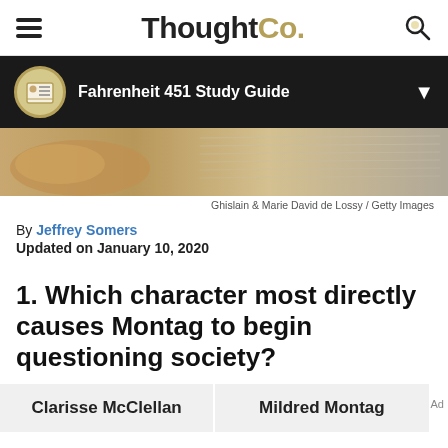ThoughtCo.
Fahrenheit 451 Study Guide
[Figure (photo): Close-up photo of text on a page, warm brown and tan tones, appearing to show an old book or document.]
Ghislain & Marie David de Lossy / Getty Images
By Jeffrey Somers
Updated on January 10, 2020
1. Which character most directly causes Montag to begin questioning society?
Clarisse McClellan
Mildred Montag